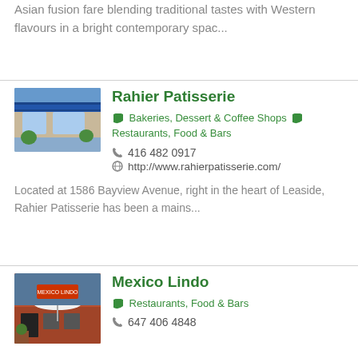Asian fusion fare blending traditional tastes with Western flavours in a bright contemporary spac...
[Figure (photo): Exterior photo of Rahier Patisserie with blue awning and green plants]
Rahier Patisserie
Bakeries, Dessert & Coffee Shops  Restaurants, Food & Bars
416 482 0917
http://www.rahierpatisserie.com/
Located at 1586 Bayview Avenue, right in the heart of Leaside, Rahier Patisserie has been a mains...
[Figure (photo): Exterior photo of Mexico Lindo restaurant with red building]
Mexico Lindo
Restaurants, Food & Bars
647 406 4848